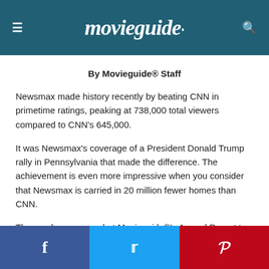Movieguide®
By Movieguide® Staff
Newsmax made history recently by beating CNN in primetime ratings, peaking at 738,000 total viewers compared to CNN's 645,000.
It was Newsmax's coverage of a President Donald Trump rally in Pennsylvania that made the difference. The achievement is even more impressive when you consider that Newsmax is carried in 20 million fewer homes than CNN.
The numbers prove what Movieguide®'s Annual Report to the Entertainment Industry has shown for the last 22 years – that,